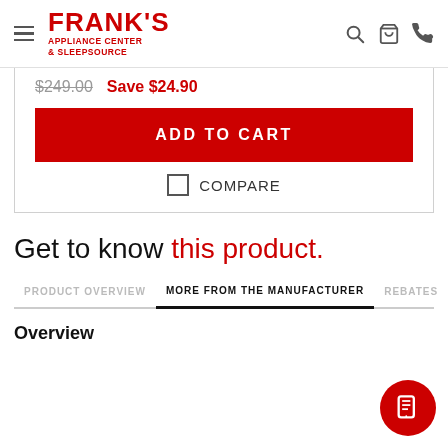Frank's Appliance Center & Sleepsource
$249.00  Save $24.90
ADD TO CART
COMPARE
Get to know this product.
PRODUCT OVERVIEW   MORE FROM THE MANUFACTURER   REBATES
Overview